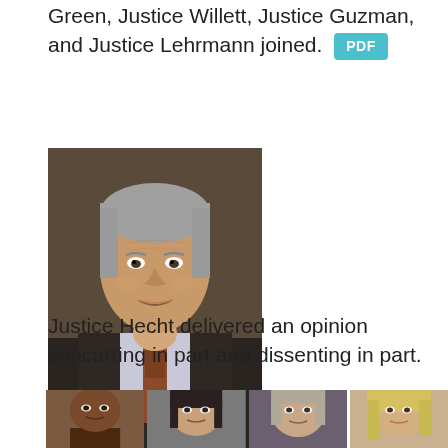Green, Justice Willett, Justice Guzman, and Justice Lehrmann joined. [PDF]
[Figure (photo): Headshot of Justice Hecht, a middle-aged man with gray hair wearing judicial robes and a tie, smiling.]
Justice Hecht delivered an opinion concurring in part and dissenting in part.
PDF
[Figure (photo): Row of four justice headshots: a bald dark-skinned man, a man with dark hair, a man with thinning hair, and a blonde woman.]